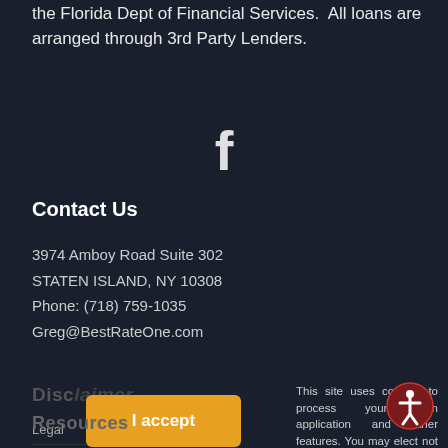the Florida Dept of Financial Services.  All loans are arranged through 3rd Party Lenders.
[Figure (illustration): Facebook icon (letter f) centered on dark background]
Contact Us
3974 Amboy Road Suite 302
STATEN ISLAND, NY 10308
Phone: (718) 759-1035
Greg@BestRateOne.com
Disc...
Legal
Privacy Policy
Site Map
Licen...
This site uses cookies to process your loan application and other features. You may elect not to accept cookies which will keep you from submitting a loan application. By your clicked consent/acceptance you acknowledge and allow the use of cookies. By clicking I Accept you acknowledge you have read and understand Fidelity First Mortgage Corp's Privacy Policy.
Resources